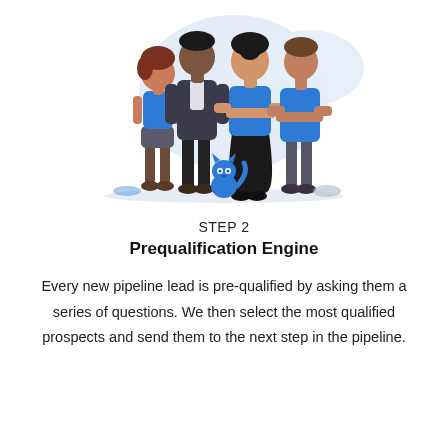[Figure (illustration): Group of four people standing together: a woman in a blue tank top, a tall man in a dark jacket, a woman in a blue top and black skirt with arms crossed, and a man in a blue sweater with arms crossed. A small blue cat/mascot sits in front. Light blue blob shapes in the background.]
STEP 2
Prequalification Engine
Every new pipeline lead is pre-qualified by asking them a series of questions. We then select the most qualified prospects and send them to the next step in the pipeline.